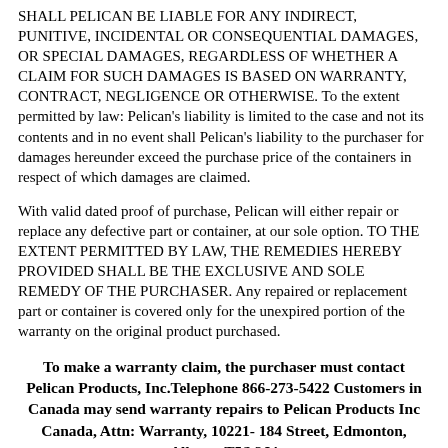SHALL PELICAN BE LIABLE FOR ANY INDIRECT, PUNITIVE, INCIDENTAL OR CONSEQUENTIAL DAMAGES, OR SPECIAL DAMAGES, REGARDLESS OF WHETHER A CLAIM FOR SUCH DAMAGES IS BASED ON WARRANTY, CONTRACT, NEGLIGENCE OR OTHERWISE. To the extent permitted by law: Pelican's liability is limited to the case and not its contents and in no event shall Pelican's liability to the purchaser for damages hereunder exceed the purchase price of the containers in respect of which damages are claimed.
With valid dated proof of purchase, Pelican will either repair or replace any defective part or container, at our sole option. TO THE EXTENT PERMITTED BY LAW, THE REMEDIES HEREBY PROVIDED SHALL BE THE EXCLUSIVE AND SOLE REMEDY OF THE PURCHASER. Any repaired or replacement part or container is covered only for the unexpired portion of the warranty on the original product purchased.
To make a warranty claim, the purchaser must contact Pelican Products, Inc.Telephone 866-273-5422 Customers in Canada may send warranty repairs to Pelican Products Inc Canada, Attn: Warranty, 10221-184 Street, Edmonton, Alberta T5S 2J4
Please note that Custom Case Company can also return a